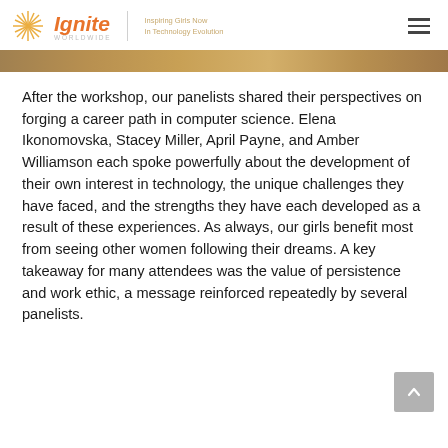Ignite Worldwide — Inspiring Girls Now In Technology Evolution
[Figure (photo): Partial image strip showing a photo at the top of the page, cropped — appears to be a workshop or event scene with warm tones]
After the workshop, our panelists shared their perspectives on forging a career path in computer science. Elena Ikonomovska, Stacey Miller, April Payne, and Amber Williamson each spoke powerfully about the development of their own interest in technology, the unique challenges they have faced, and the strengths they have each developed as a result of these experiences. As always, our girls benefit most from seeing other women following their dreams. A key takeaway for many attendees was the value of persistence and work ethic, a message reinforced repeatedly by several panelists.